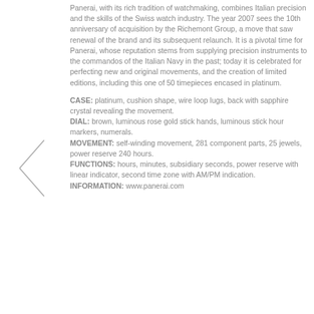Panerai, with its rich tradition of watchmaking, combines Italian precision and the skills of the Swiss watch industry. The year 2007 sees the 10th anniversary of acquisition by the Richemont Group, a move that saw renewal of the brand and its subsequent relaunch. It is a pivotal time for Panerai, whose reputation stems from supplying precision instruments to the commandos of the Italian Navy in the past; today it is celebrated for perfecting new and original movements, and the creation of limited editions, including this one of 50 timepieces encased in platinum.
CASE: platinum, cushion shape, wire loop lugs, back with sapphire crystal revealing the movement. DIAL: brown, luminous rose gold stick hands, luminous stick hour markers, numerals. MOVEMENT: self-winding movement, 281 component parts, 25 jewels, power reserve 240 hours. FUNCTIONS: hours, minutes, subsidiary seconds, power reserve with linear indicator, second time zone with AM/PM indication. INFORMATION: www.panerai.com